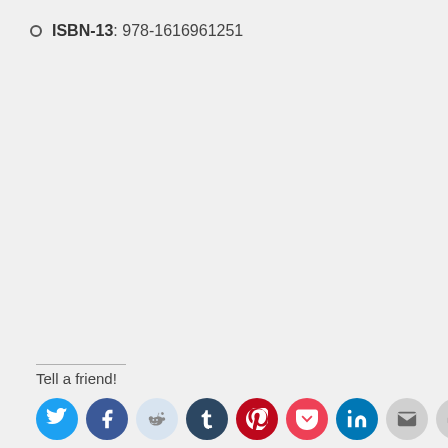ISBN-13: 978-1616961251
Tell a friend!
[Figure (infographic): Row of social media sharing icon buttons: Twitter (cyan), Facebook (blue), Reddit (light blue/gray), Tumblr (dark navy), Pinterest (red), Pocket (red), LinkedIn (teal), Email (gray), Print (gray)]